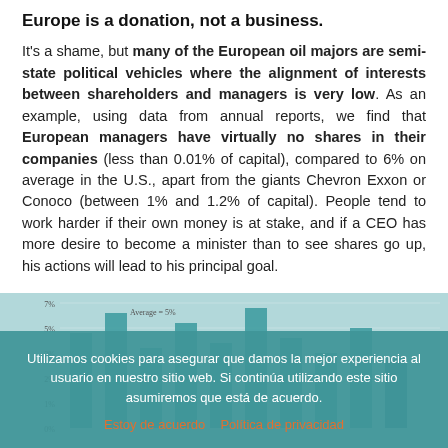Europe is a donation, not a business.
It’s a shame, but many of the European oil majors are semi-state political vehicles where the alignment of interests between shareholders and managers is very low. As an example, using data from annual reports, we find that European managers have virtually no shares in their companies (less than 0.01% of capital), compared to 6% on average in the U.S., apart from the giants Chevron Exxon or Conoco (between 1% and 1.2% of capital). People tend to work harder if their own money is at stake, and if a CEO has more desire to become a minister than to see shares go up, his actions will lead to his principal goal.
[Figure (bar-chart): Partially visible bar chart behind cookie overlay showing percentage data, with teal/blue bars and axis labels]
Utilizamos cookies para asegurar que damos la mejor experiencia al usuario en nuestro sitio web. Si continúa utilizando este sitio asumiremos que está de acuerdo.
Estoy de acuerdo   Política de privacidad